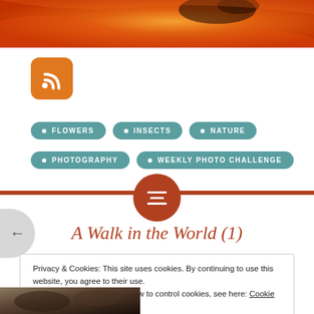[Figure (photo): Close-up orange flower with dark spiky insect detail at top]
[Figure (logo): RSS feed icon — orange rounded square with white RSS symbol]
FLOWERS
INSECTS
NATURE
PHOTOGRAPHY
WEEKLY PHOTO CHALLENGE
A Walk in the World (1)
Privacy & Cookies: This site uses cookies. By continuing to use this website, you agree to their use.
To find out more, including how to control cookies, see here: Cookie Policy
Close and accept
[Figure (photo): Partial thumbnail of nature/outdoor photograph at the bottom]